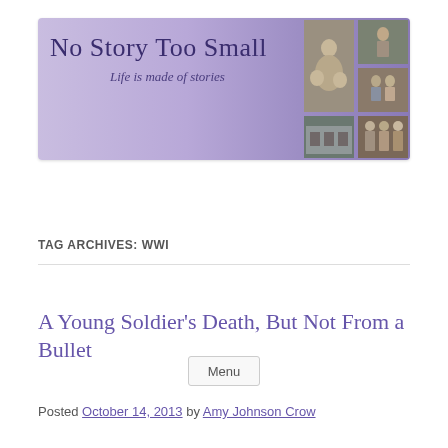[Figure (illustration): Blog banner for 'No Story Too Small' with purple gradient background, large title text, italic subtitle 'Life is made of stories', and a grid of vintage black-and-white family photographs on the right side.]
Menu
TAG ARCHIVES: WWI
A Young Soldier's Death, But Not From a Bullet
Posted October 14, 2013 by Amy Johnson Crow